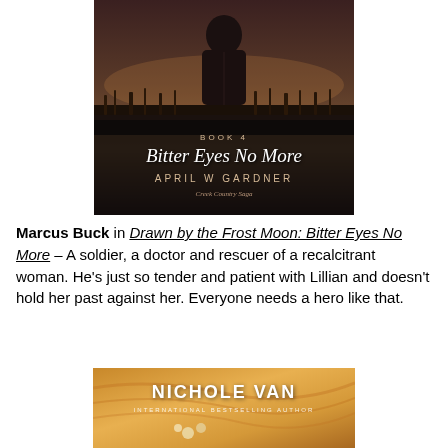[Figure (illustration): Book cover for 'Bitter Eyes No More' Book 4 by April W Gardner, Creek Country Saga. Shows a woman in dark clothing against a misty landscape background. Dark moody tones.]
Marcus Buck in Drawn by the Frost Moon: Bitter Eyes No More – A soldier, a doctor and rescuer of a recalcitrant woman. He's just so tender and patient with Lillian and doesn't hold her past against her. Everyone needs a hero like that.
[Figure (illustration): Book cover showing a woman with auburn/golden hair and flowers, by Nichole Van, International Bestselling Author.]